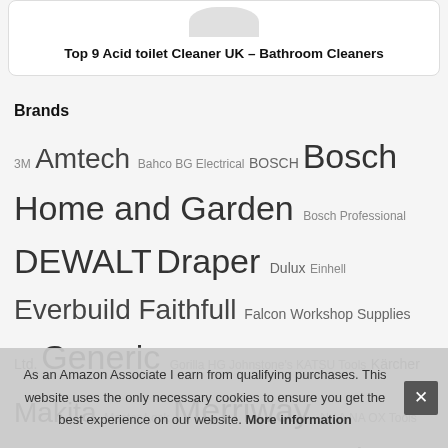Top 9 Acid toilet Cleaner UK – Bathroom Cleaners
Brands
3M Amtech Bahco BG Electrical BOSCH Bosch Home and Garden Bosch Professional DEWALT Draper Dulux Einhell Everbuild Faithfull Falcon Workshop Supplies Ltd. Generic Gorilla HG Johnstone's KATSU Tools Kärcher Makita Master Lock Merriway N / A NA OX Tools Rolson RONSEAL Rust-Oleum Ryobi Sealey Silka... Stanley... Hint...
As an Amazon Associate I earn from qualifying purchases. This website uses the only necessary cookies to ensure you get the best experience on our website. More information